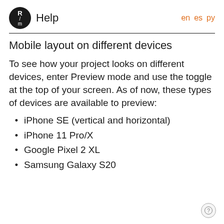R/m Help  en es py
Mobile layout on different devices
To see how your project looks on different devices, enter Preview mode and use the toggle at the top of your screen. As of now, these types of devices are available to preview:
iPhone SE (vertical and horizontal)
iPhone 11 Pro/X
Google Pixel 2 XL
Samsung Galaxy S20